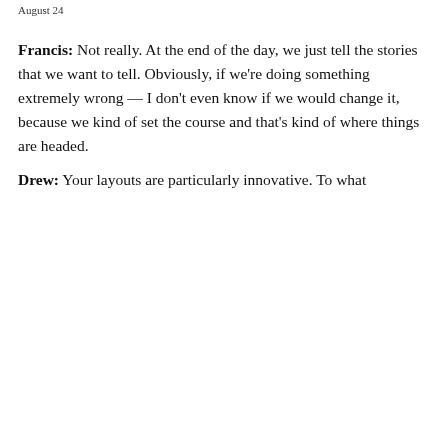August 24
Francis: Not really. At the end of the day, we just tell the stories that we want to tell. Obviously, if we're doing something extremely wrong — I don't even know if we would change it, because we kind of set the course and that's kind of where things are headed.
Drew: Your layouts are particularly innovative. To what
Privacy & Cookies: This site uses cookies. By continuing to use this website, you agree to their use.
To find out more, including how to control cookies, see here: Cookie Policy